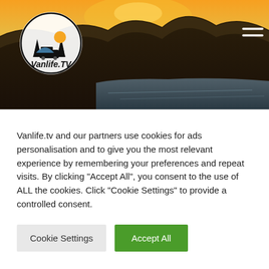[Figure (photo): Vanlife.tv website header showing a scenic landscape photo of a mountain and lake at sunset/dusk with warm orange sky tones. A logo for Vanlife.TV is in the top left and a hamburger menu icon is in the top right.]
Vanlife.tv and our partners use cookies for ads personalisation and to give you the most relevant experience by remembering your preferences and repeat visits. By clicking "Accept All", you consent to the use of ALL the cookies. Click "Cookie Settings" to provide a controlled consent.